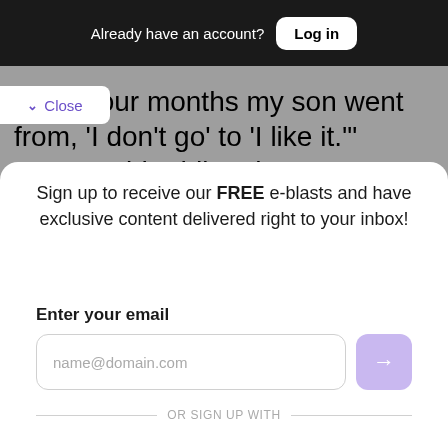Already have an account? Log in
“After four months my son went from, ‘I don’t go’ to ‘I like it.’” Jones said adding that
Close
Sign up to receive our FREE e-blasts and have exclusive content delivered right to your inbox!
Enter your email
name@domain.com
OR SIGN UP WITH